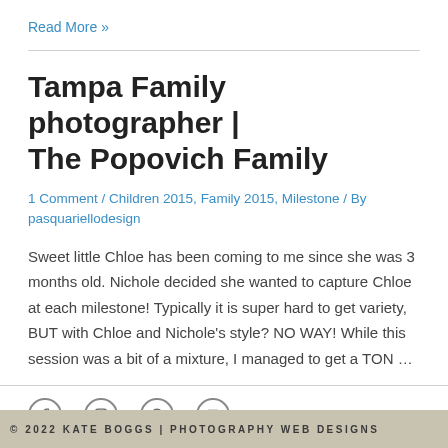Read More »
Tampa Family photographer | The Popovich Family
1 Comment / Children 2015, Family 2015, Milestone / By pasquariellodesign
Sweet little Chloe has been coming to me since she was 3 months old. Nichole decided she wanted to capture Chloe at each milestone! Typically it is super hard to get variety, BUT with Chloe and Nichole's style? NO WAY! While this session was a bit of a mixture, I managed to get a TON …
© 2022 KATE BOGGS | PHOTOGRAPHY WEB DESIGNS